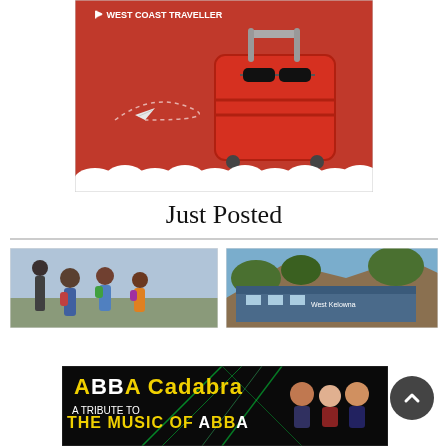[Figure (illustration): West Coast Traveller advertisement with red background, red suitcase, sunglasses, paper airplane, clouds at bottom]
Just Posted
[Figure (photo): Children with backpacks walking, viewed from behind, school or travel scene]
[Figure (photo): West Kelowna building exterior with rocky hillside behind it]
[Figure (illustration): ABBA Cadabra banner advertisement - A Tribute to the Music of ABBA, showing performers]